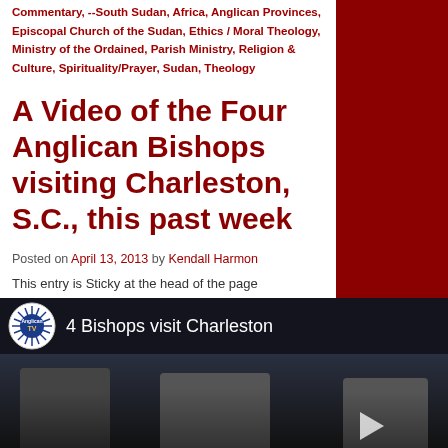Commentary, --South Sudan, Africa, Anglican Provinces, Episcopal Church of the Sudan, Ethics / Moral Theology, Ministry of the Ordained, Parish Ministry, Religion & Culture, Spirituality/Prayer, Sudan, Theology
A Video of the Four Anglican Bishops visiting Charleston, S.C., this past week
Posted on April 13, 2013 by Kendall Harmon
This entry is Sticky at the head of the page
[Figure (screenshot): Video player thumbnail showing '4 Bishops visit Charleston' with Anglican TV logo and dark scene of figures in background]